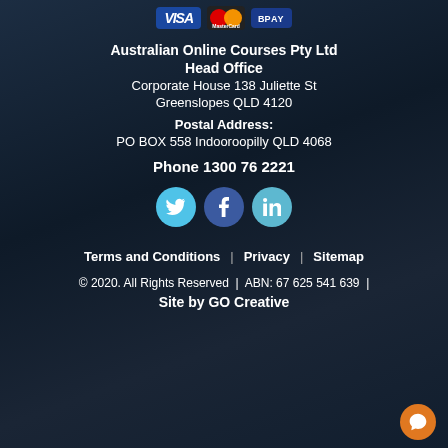[Figure (logo): Payment method logos: VISA, MasterCard, BPAY]
Australian Online Courses Pty Ltd
Head Office
Corporate House 138 Juliette St
Greenslopes QLD 4120
Postal Address:
PO BOX 558 Indooroopilly QLD 4068
Phone 1300 76 2221
[Figure (other): Social media icons: Twitter, Facebook, LinkedIn]
Terms and Conditions | Privacy | Sitemap
© 2020. All Rights Reserved | ABN: 67 625 541 639 | Site by GO Creative